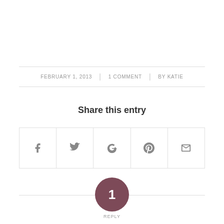FEBRUARY 1, 2013  |  1 COMMENT  |  BY KATIE
Share this entry
[Figure (infographic): Social share buttons row with icons for Facebook, Twitter, Google+, Pinterest, and Email]
1 REPLY